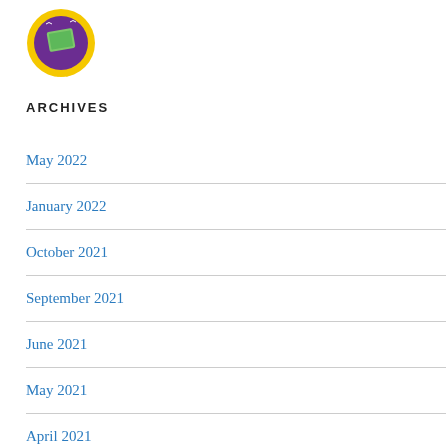[Figure (logo): Circular logo with purple and yellow colors, showing a book or document graphic with text around the edge reading 'I Moo Blues Sunrise' or similar]
ARCHIVES
May 2022
January 2022
October 2021
September 2021
June 2021
May 2021
April 2021